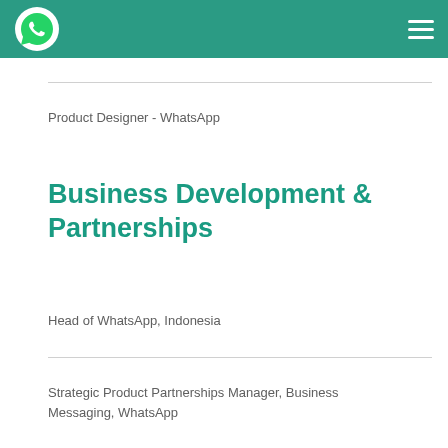[Figure (logo): WhatsApp logo — green circle with white phone handset icon]
Product Designer - WhatsApp
Business Development & Partnerships
Head of WhatsApp, Indonesia
Strategic Product Partnerships Manager, Business Messaging, WhatsApp